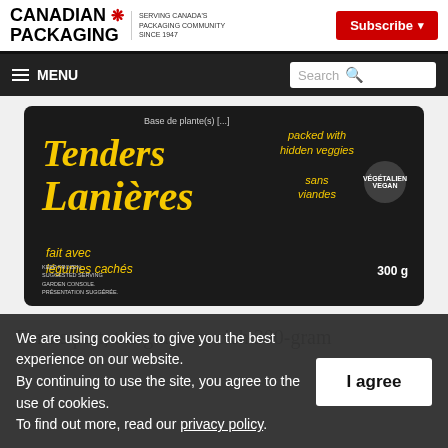Canadian Packaging — Serving Canada's Packaging Community Since 1947 | Subscribe
≡ MENU | Search
[Figure (photo): Product packaging for Tenders / Lanières — a dark/black package with yellow script text reading 'Tenders Lanières', with French and English text indicating vegan, plant-based, packed with hidden veggies, 300g]
For its part, the graphics-rich 300-gram
We are using cookies to give you the best experience on our website.
By continuing to use the site, you agree to the use of cookies.
To find out more, read our privacy policy.